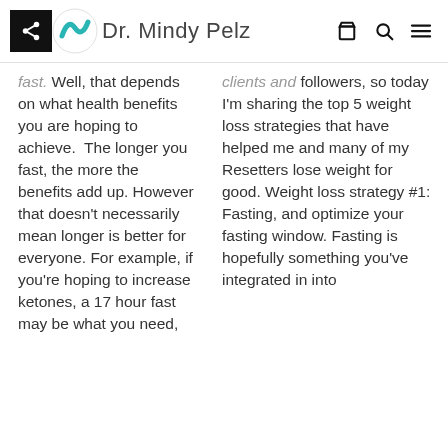Dr. Mindy Pelz
fast. Well, that depends on what health benefits you are hoping to achieve. The longer you fast, the more the benefits add up. However that doesn't necessarily mean longer is better for everyone. For example, if you're hoping to increase ketones, a 17 hour fast may be what you need,
clients and followers, so today I'm sharing the top 5 weight loss strategies that have helped me and many of my Resetters lose weight for good. Weight loss strategy #1: Fasting, and optimize your fasting window. Fasting is hopefully something you've integrated in into